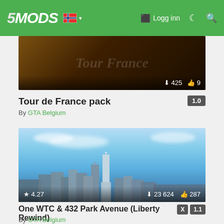5MODS — Logg inn
[Figure (screenshot): Tour de France pack mod thumbnail image — dark brown/orange background with Tour de France logo text. Shows download count 425 and like count 9.]
Tour de France pack
By GTA Belgium
[Figure (screenshot): One WTC & 432 Park Avenue (Liberty Rewind) mod thumbnail — aerial view of New York City skyline with One World Trade Center prominent, blue sky with clouds. Shows rating 4.27, downloads 23 624, likes 287.]
One WTC & 432 Park Avenue (Liberty Rewind)
By GTA Belgium